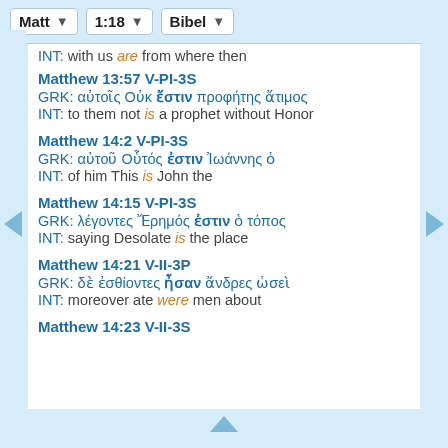Matt | 1:18 | Bibel
INT: with us are from where then
Matthew 13:57 V-PI-3S
GRK: αὐτοῖς Οὐκ ἔστιν προφήτης ἄτιμος
INT: to them not is a prophet without Honor
Matthew 14:2 V-PI-3S
GRK: αὐτοῦ Οὗτός ἐστιν Ἰωάννης ὁ
INT: of him This is John the
Matthew 14:15 V-PI-3S
GRK: λέγοντες Ἔρημός ἐστιν ὁ τόπος
INT: saying Desolate is the place
Matthew 14:21 V-II-3P
GRK: δὲ ἐσθίοντες ἦσαν ἄνδρες ὡσεὶ
INT: moreover ate were men about
Matthew 14:23 V-II-3S